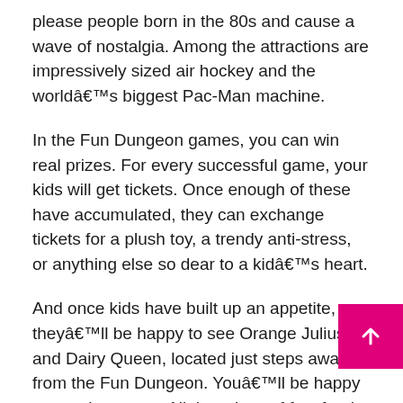please people born in the 80s and cause a wave of nostalgia. Among the attractions are impressively sized air hockey and the worldâ€™s biggest Pac-Man machine.
In the Fun Dungeon games, you can win real prizes. For every successful game, your kids will get tickets. Once enough of these have accumulated, they can exchange tickets for a plush toy, a trendy anti-stress, or anything else so dear to a kidâ€™s heart.
And once kids have built up an appetite, theyâ€™ll be happy to see Orange Julius and Dairy Queen, located just steps away from the Fun Dungeon. Youâ€™ll be happy to see these, too. All the prices of fast food is quite low, especially as for Vegas.
One delight of the Excalibur is its affiliation with MGM Resorts. Because of it, the venue is equipped with walkways. They lead directly to sister venues like Luxor.
A wonderful feature of these alleys is the air conditioning